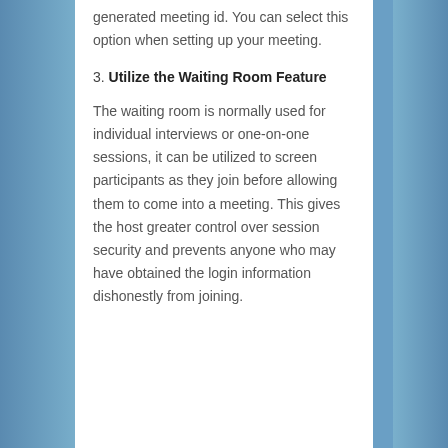generated meeting id. You can select this option when setting up your meeting.
3. Utilize the Waiting Room Feature
The waiting room is normally used for individual interviews or one-on-one sessions, it can be utilized to screen participants as they join before allowing them to come into a meeting. This gives the host greater control over session security and prevents anyone who may have obtained the login information dishonestly from joining.